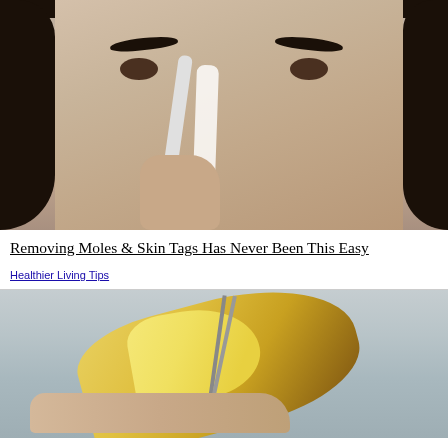[Figure (photo): Woman applying white cream or strip on her nose with a toothbrush/applicator, close-up face shot with dark hair]
Removing Moles & Skin Tags Has Never Been This Easy
Healthier Living Tips
[Figure (photo): Hands cutting a banana peel with scissors, showing the inside of the banana peel]